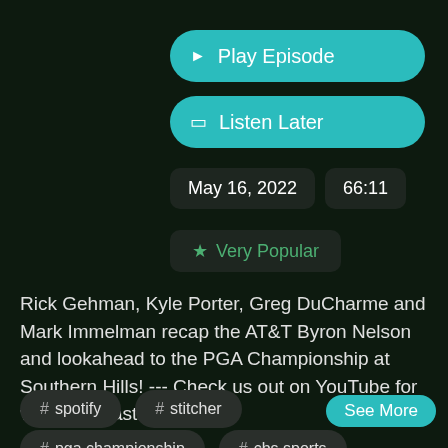▶ Play Episode
□ Listen Later
May 16, 2022   66:11
★ Very Popular
Rick Gehman, Kyle Porter, Greg DuCharme and Mark Immelman recap the AT&T Byron Nelson and lookahead to the PGA Championship at Southern Hills! --- Check us out on YouTube for video podcasts
See More
# spotify
# stitcher
# pga championship
# cbs sports